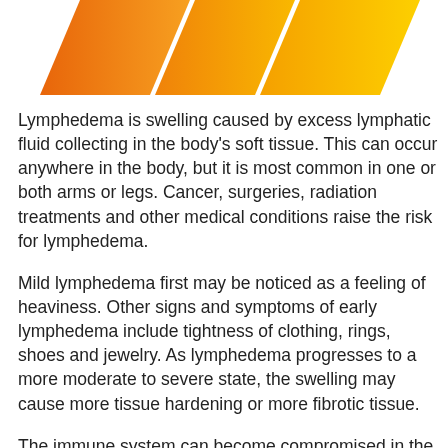[Figure (illustration): Three diagonal chevron/stripe shapes in orange-to-yellow gradient decorating the top of the page]
Lymphedema is swelling caused by excess lymphatic fluid collecting in the body's soft tissue. This can occur anywhere in the body, but it is most common in one or both arms or legs. Cancer, surgeries, radiation treatments and other medical conditions raise the risk for lymphedema.
Mild lymphedema first may be noticed as a feeling of heaviness. Other signs and symptoms of early lymphedema include tightness of clothing, rings, shoes and jewelry. As lymphedema progresses to a more moderate to severe state, the swelling may cause more tissue hardening or more fibrotic tissue.
The immune system can become compromised in the swollen area which can lead to the risk of